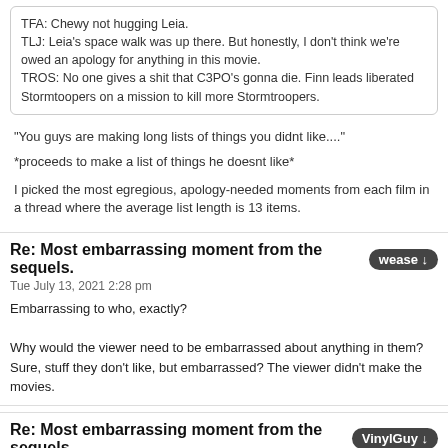TFA: Chewy not hugging Leia.
TLJ: Leia's space walk was up there. But honestly, I don't think we're owed an apology for anything in this movie.
TROS: No one gives a shit that C3PO's gonna die. Finn leads liberated Stormtoopers on a mission to kill more Stormtroopers.
"You guys are making long lists of things you didnt like...."
*proceeds to make a list of things he doesnt like*
I picked the most egregious, apology-needed moments from each film in a thread where the average list length is 13 items.
Re: Most embarrassing moment from the sequels.
Tue July 13, 2021 2:28 pm
Embarrassing to who, exactly?

Why would the viewer need to be embarrassed about anything in them? Sure, stuff they don't like, but embarrassed? The viewer didn't make the movies.
Re: Most embarrassing moment from the sequels.
Tue July 13, 2021 3:30 pm
wease wrote:
Embarrassing to who, exactly?